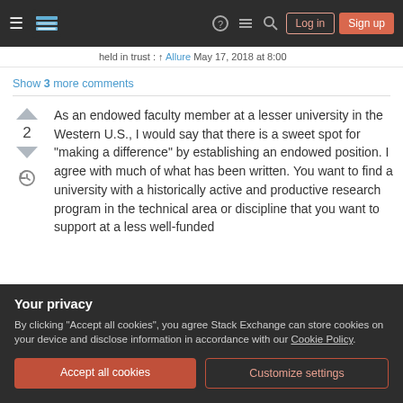Stack Exchange navigation bar with hamburger menu, logo, help, chat, search icons, Log in and Sign up buttons
held in trust : ↑ Allure May 17, 2018 at 8:00
Show 3 more comments
As an endowed faculty member at a lesser university in the Western U.S., I would say that there is a sweet spot for "making a difference" by establishing an endowed position. I agree with much of what has been written. You want to find a university with a historically active and productive research program in the technical area or discipline that you want to support at a less well-funded
Your privacy
By clicking "Accept all cookies", you agree Stack Exchange can store cookies on your device and disclose information in accordance with our Cookie Policy.
Accept all cookies
Customize settings